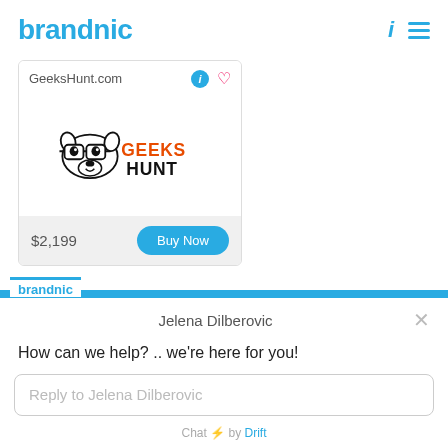brandnic
[Figure (logo): GeeksHunt.com domain listing card with GeeksHunt logo (dog with glasses), price $2,199 and Buy Now button]
Jelena Dilberovic
How can we help? .. we're here for you!
Reply to Jelena Dilberovic
Chat ⚡ by Drift